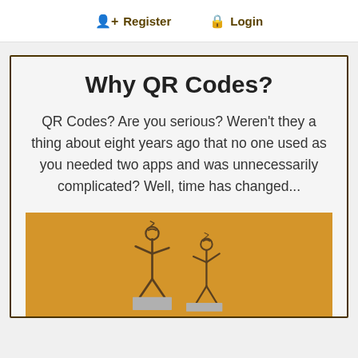Register  Login
Why QR Codes?
QR Codes? Are you serious? Weren’t they a thing about eight years ago that no one used as you needed two apps and was unnecessarily complicated? Well, time has changed...
[Figure (illustration): Two stick figures made of wire/rope standing on grey squares against an orange/golden yellow background, partially visible at the bottom of the page.]